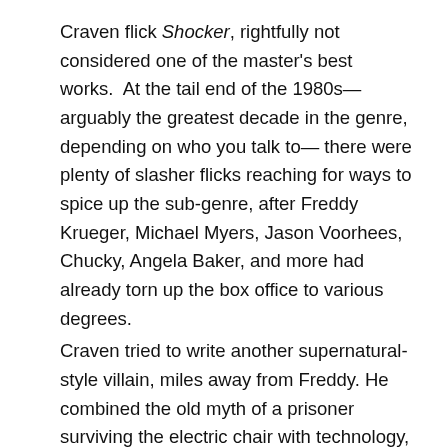Craven flick Shocker, rightfully not considered one of the master's best works.  At the tail end of the 1980s— arguably the greatest decade in the genre, depending on who you talk to— there were plenty of slasher flicks reaching for ways to spice up the sub-genre, after Freddy Krueger, Michael Myers, Jason Voorhees, Chucky, Angela Baker, and more had already torn up the box office to various degrees. Craven tried to write another supernatural-style villain, miles away from Freddy. He combined the old myth of a prisoner surviving the electric chair with technology, which is partly where he went wrong, by not going deep enough into certain compelling themes from either premise. What he did get right is Horace Pinker (played with disturbing, gleeful delight by Mitch Pileggi)— a vicious, worthy slasher villain. A significant portion comes right out of Pileggi's performance. Some does come from Craven's writing and his willingness to make a nasty